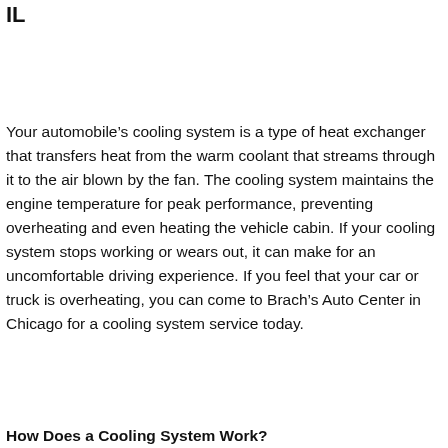IL
Your automobile’s cooling system is a type of heat exchanger that transfers heat from the warm coolant that streams through it to the air blown by the fan. The cooling system maintains the engine temperature for peak performance, preventing overheating and even heating the vehicle cabin. If your cooling system stops working or wears out, it can make for an uncomfortable driving experience. If you feel that your car or truck is overheating, you can come to Brach’s Auto Center in Chicago for a cooling system service today.
How Does a Cooling System Work?